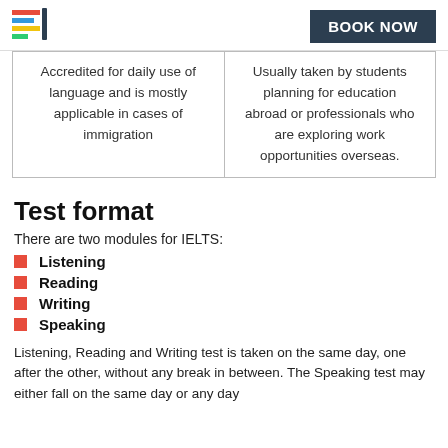[Figure (logo): Colorful horizontal lines logo icon]
BOOK NOW
| Accredited for daily use of language and is mostly applicable in cases of immigration | Usually taken by students planning for education abroad or professionals who are exploring work opportunities overseas. |
Test format
There are two modules for IELTS:
Listening
Reading
Writing
Speaking
Listening, Reading and Writing test is taken on the same day, one after the other, without any break in between. The Speaking test may either fall on the same day or any day